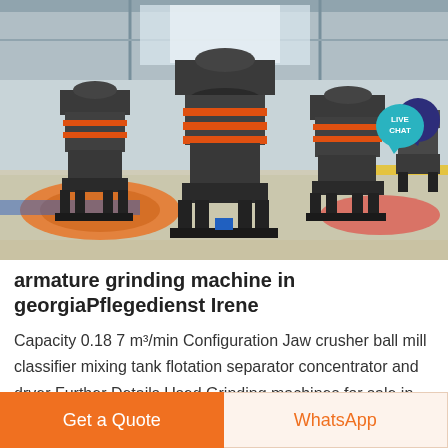[Figure (photo): Industrial armature grinding machines in a factory setting, multiple dark metal machines on a floor covered with small white/gray aggregate material, inside a large warehouse/industrial building]
armature grinding machine in georgiaPflegedienst Irene
Capacity 0.18 7 m³/min Configuration Jaw crusher ball mill classifier mixing tank flotation separator concentrator and dryer Further Details Used Grinding machines for sale in Georgia USA Machinio Used grinding
Get a Quote
WhatsApp